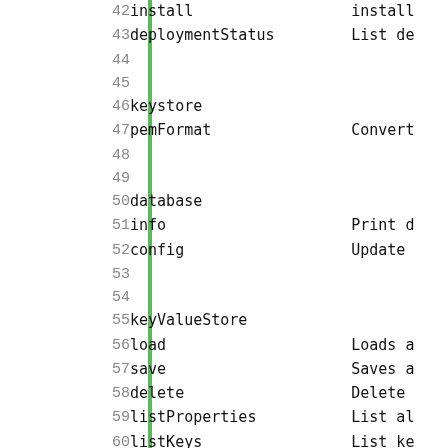| Line | Code | Description |
| --- | --- | --- |
| 42 |     install | install |
| 43 |     deploymentStatus | List de |
| 44 |  |  |
| 45 |  |  |
| 46 | keystore |  |
| 47 |     pemFormat | Convert |
| 48 |  |  |
| 49 |  |  |
| 50 | database |  |
| 51 |     info | Print d |
| 52 |     config | Update |
| 53 |  |  |
| 54 |  |  |
| 55 | keyValueStore |  |
| 56 |     load | Loads a |
| 57 |     save | Saves a |
| 58 |     delete | Delete |
| 59 |     listProperties | List al |
| 60 |     listKeys | List ke |
| 61 |     deleteAll | Deletes |
| 62 |  |  |
| 63 |  |  |
| 64 | persisteddata |  |
| 65 |     load | Loads a |
| 66 |     save | Saves a |
| 67 |     delete | Delete |